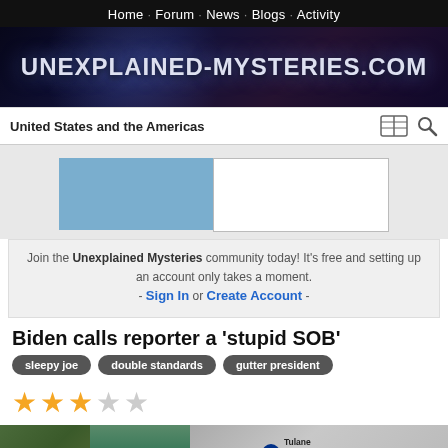Home · Forum · News · Blogs · Activity
[Figure (screenshot): Unexplained-Mysteries.com website banner with dark space/globe background and glowing text logo]
United States and the Americas
[Figure (other): Advertisement placeholder with blue left section and white right section]
Join the Unexplained Mysteries community today! It's free and setting up an account only takes a moment. - Sign In or Create Account -
Biden calls reporter a 'stupid SOB'
sleepy joe
double standards
gutter president
[Figure (other): 3-star rating out of 5 stars (3 filled orange, 2 empty gray)]
[Figure (screenshot): Bottom advertisement bar showing Tulane University School of Social Work and VDX.TV]